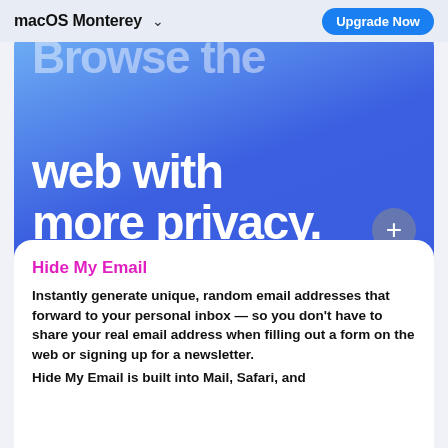macOS Monterey   ∨   Upgrade Now
Browse the web with more privacy.
Hide My Email
Instantly generate unique, random email addresses that forward to your personal inbox — so you don't have to share your real email address when filling out a form on the web or signing up for a newsletter.
Hide My Email is built into Mail, Safari, and...